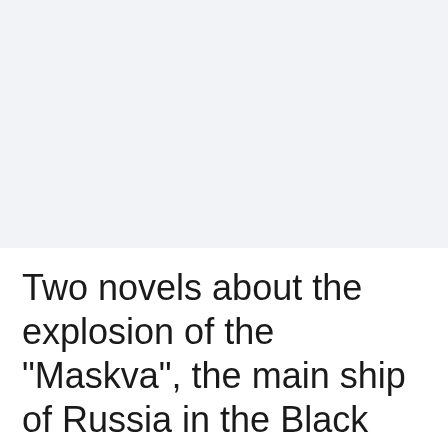Two novels about the explosion of the "Maskva", the main ship of Russia in the Black Sea Fleet
4/14/2022, 7:10:38 AM